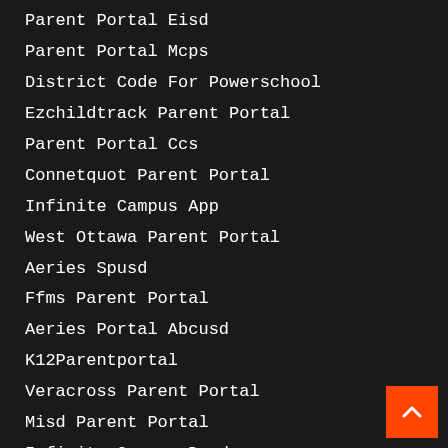Parent Portal Eisd
Parent Portal Mcps
District Code For Powerschool
Ezchildtrack Parent Portal
Parent Portal Ccs
Connetquot Parent Portal
Infinite Campus App
West Ottawa Parent Portal
Aeries Spusd
Ffms Parent Portal
Aeries Portal Abcusd
K12Parentportal
Veracross Parent Portal
Misd Parent Portal
Infinite Campus Dcsd
Parent Portal Hsd
Episd Parent Portal Login
Marsd Parent Portal